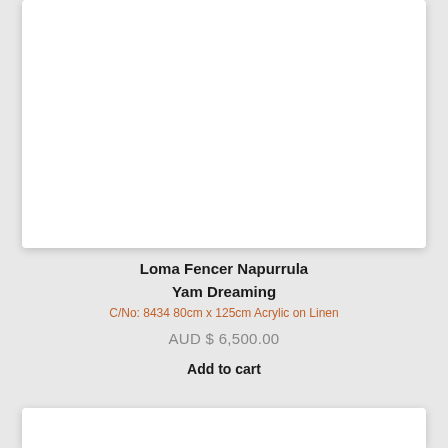[Figure (other): Product image card (white rectangle with shadow, artwork not visible)]
Loma Fencer Napurrula
Yam Dreaming
C/No: 8434 80cm x 125cm Acrylic on Linen
AUD $ 6,500.00
Add to cart
[Figure (other): Bottom of next product card (white rectangle with shadow, partially visible)]